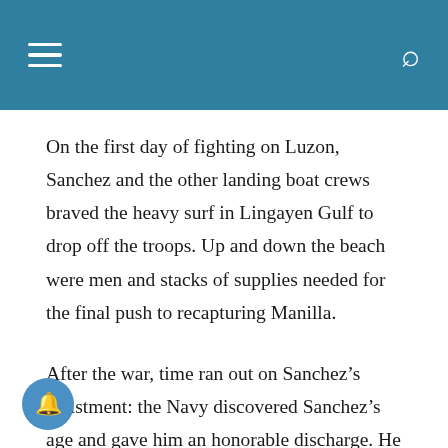navigation header with hamburger menu and search icon
On the first day of fighting on Luzon, Sanchez and the other landing boat crews braved the heavy surf in Lingayen Gulf to drop off the troops. Up and down the beach were men and stacks of supplies needed for the final push to recapturing Manilla.
After the war, time ran out on Sanchez’s enlistment: the Navy discovered Sanchez’s age and gave him an honorable discharge. He then joined the U.S. Coast Guard and was assigned to the USCGC Chautauqua, an Owasco class high endurance cutter that was commissioned on Aug. 1, 1945.
“There I was on a Coast Guard cutter going on weather